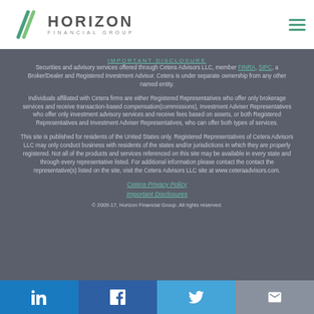[Figure (logo): Horizon Financial Group logo with green slash marks and gray text]
IMPORTANT DISCLOSURE
Securities and advisory services offered through Cetera Advisors LLC, member FINRA, SIPC, a Broker/Dealer and Registered Investment Advisor. Cetera is under separate ownership from any other named entity.
Individuals affiliated with Cetera firms are either Registered Representatives who offer only brokerage services and receive transaction-based compensation(commissions), Investment Adviser Representatives who offer only investment advisory services and receive fees based on assets, or both Registered Representatives and Investment Adviser Representatives, who can offer both types of services.
This site is published for residents of the United States only. Registered Representatives of Cetera Advisors LLC may only conduct business with residents of the states and/or jurisdictions in which they are properly registered. Not all of the products and services referenced on this site may be available in every state and through every representative listed. For additional information please contact the contact the representative(s) listed on the site, visit the Cetera Advisors LLC site at www.ceteraadvisors.com.
Cetera Privacy Policy
Important Disclosures
© 2009-17, Horizon Financial Group. All rights reserved.
[Figure (infographic): Social media icons bar: LinkedIn, Facebook, Twitter, Email on colored backgrounds]